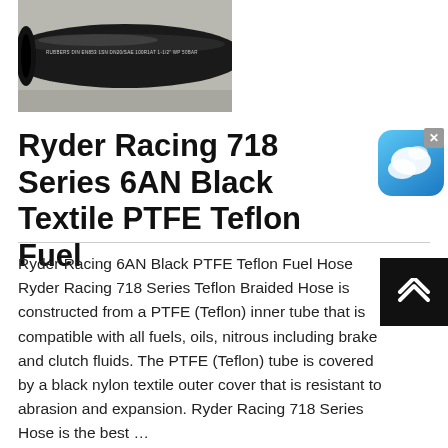[Figure (photo): Close-up photo of a black rubber hose with label text reading: RUBBERS DIN EN853 1SN DN20/SAE 100R1AT 1-1/2 WP 50BAR]
Ryder Racing 718 Series 6AN Black Textile PTFE Teflon Fuel
Ryder Racing 6AN Black PTFE Teflon Fuel Hose Ryder Racing 718 Series Teflon Braided Hose is constructed from a PTFE (Teflon) inner tube that is compatible with all fuels, oils, nitrous including brake and clutch fluids. The PTFE (Teflon) tube is covered by a black nylon textile outer cover that is resistant to abrasion and expansion. Ryder Racing 718 Series Hose is the best …